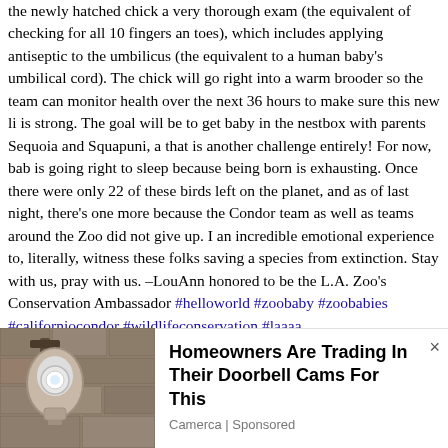the newly hatched chick a very thorough exam (the equivalent of checking for all 10 fingers an toes), which includes applying antiseptic to the umbilicus (the equivalent to a human baby's umbilical cord). The chick will go right into a warm brooder so the team can monitor health over the next 36 hours to make sure this new li is strong. The goal will be to get baby in the nestbox with parents Sequoia and Squapuni, a that is another challenge entirely! For now, bab is going right to sleep because being born is exhausting. Once there were only 22 of these birds left on the planet, and as of last night, there's one more because the Condor team as well as teams around the Zoo did not give up. I an incredible emotional experience to, literally, witness these folks saving a species from extinction. Stay with us, pray with us. –LouAnn honored to be the L.A. Zoo's Conservation Ambassador #helloworld #zoobaby #zoobabies #californiocondor #wildlifeconservation #laaaa
[Figure (photo): Photo of a wall-mounted security camera/light fixture on a stone wall]
Homeowners Are Trading In Their Doorbell Cams For This
Camerca | Sponsored